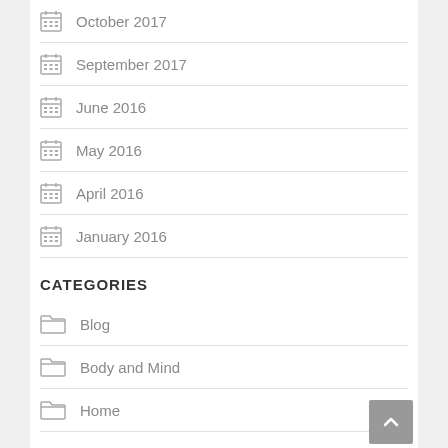October 2017
September 2017
June 2016
May 2016
April 2016
January 2016
CATEGORIES
Blog
Body and Mind
Home
Natural Tips and Tricks